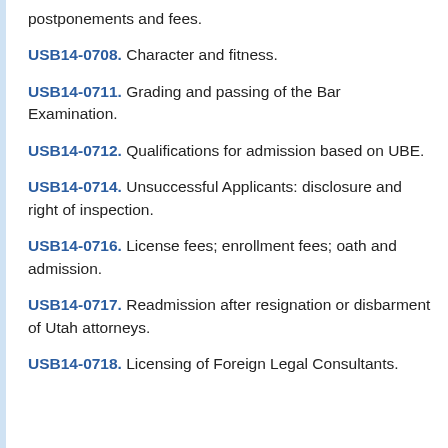postponements and fees.
USB14-0708. Character and fitness.
USB14-0711. Grading and passing of the Bar Examination.
USB14-0712. Qualifications for admission based on UBE.
USB14-0714. Unsuccessful Applicants: disclosure and right of inspection.
USB14-0716. License fees; enrollment fees; oath and admission.
USB14-0717. Readmission after resignation or disbarment of Utah attorneys.
USB14-0718. Licensing of Foreign Legal Consultants.